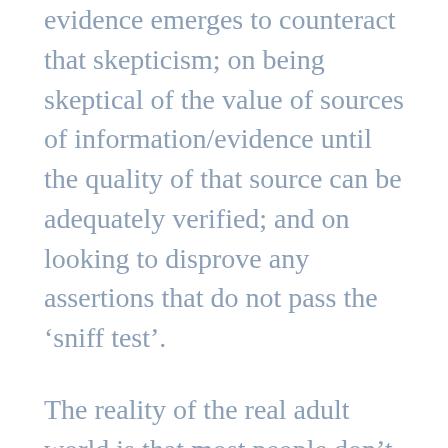evidence emerges to counteract that skepticism; on being skeptical of the value of sources of information/evidence until the quality of that source can be adequately verified; and on looking to disprove any assertions that do not pass the ‘sniff test’.
The reality of the real adult world is that most people don’t operate on such principles. They don’t have the time or often money to analyse enough subjects rigorously (the main reason being they are working a job 40 hrs a week and then being a parent mornings and evenings and weekends), so they have to base decisions based on whatever sources they